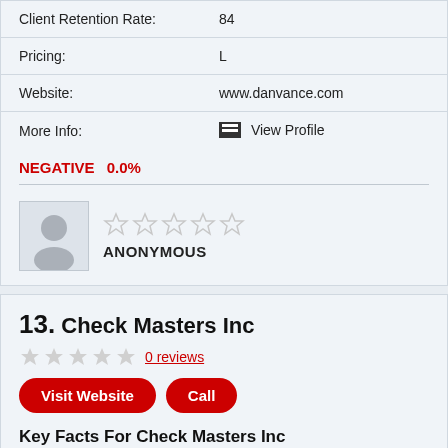| Client Retention Rate: | 84 |
| Pricing: | L |
| Website: | www.danvance.com |
| More Info: | View Profile |
NEGATIVE  0.0%
ANONYMOUS
13. Check Masters Inc
0 reviews
Visit Website   Call
Key Facts For Check Masters Inc
| Location: | Avon Division |